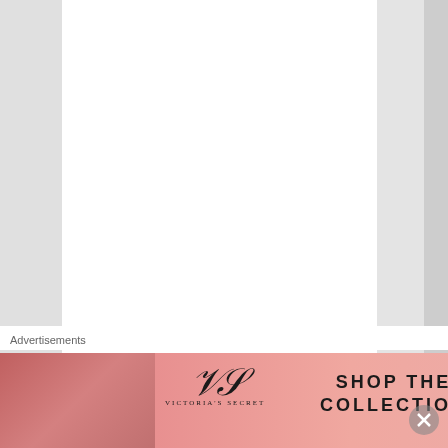and slows down.
Liked by 1 person
[Figure (screenshot): SoundEagle user avatar with colorful design]
SoundEagle 🧑‍🦯
Advertisements
[Figure (photo): Victoria's Secret advertisement banner showing a model and 'SHOP THE COLLECTION' text with 'SHOP NOW' button]